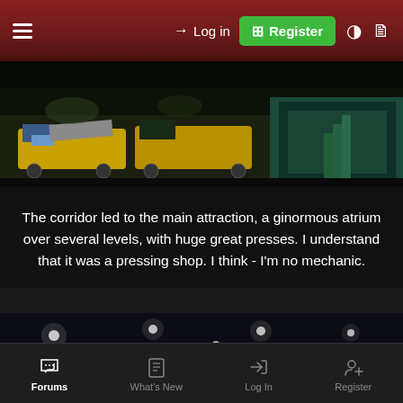Log in | Register
[Figure (photo): Industrial factory floor with yellow transport vehicles/carts carrying metal materials]
The corridor led to the main attraction, a ginormous atrium over several levels, with huge great presses. I understand that it was a pressing shop. I think - I'm no mechanic.
[Figure (photo): Large industrial atrium/factory hall with steel structure, overhead cranes, bright ceiling lights, and machinery on the floor]
Forums | What's New | Log In | Register